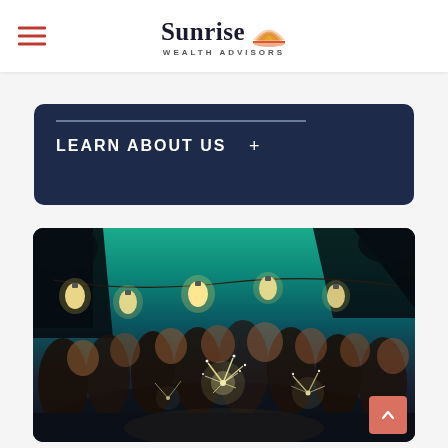Sunrise Wealth Advisors
LEARN ABOUT US +
[Figure (photo): Group of people celebrating outdoors at night holding sparklers under string lights]